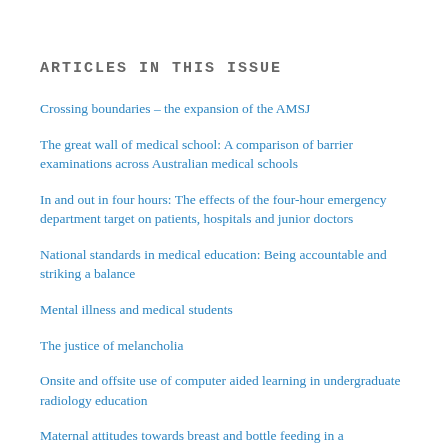ARTICLES IN THIS ISSUE
Crossing boundaries – the expansion of the AMSJ
The great wall of medical school: A comparison of barrier examinations across Australian medical schools
In and out in four hours: The effects of the four-hour emergency department target on patients, hospitals and junior doctors
National standards in medical education: Being accountable and striking a balance
Mental illness and medical students
The justice of melancholia
Onsite and offsite use of computer aided learning in undergraduate radiology education
Maternal attitudes towards breast and bottle feeding in a